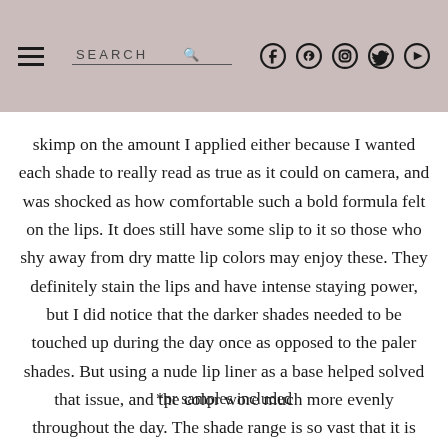SEARCH [social icons: Facebook, Pinterest, Instagram, Twitter, YouTube]
skimp on the amount I applied either because I wanted each shade to really read as true as it could on camera, and was shocked as how comfortable such a bold formula felt on the lips. It does still have some slip to it so those who shy away from dry matte lip colors may enjoy these. They definitely stain the lips and have intense staying power, but I did notice that the darker shades needed to be touched up during the day once as opposed to the paler shades. But using a nude lip liner as a base helped solved that issue, and the color wore much more evenly throughout the day. The shade range is so vast that it is nearly impossible not to find a color to fit every taste.
*pr samples included